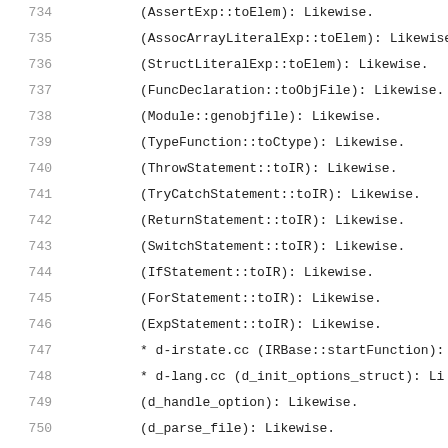734     (AssertExp::toElem): Likewise.
735     (AssocArrayLiteralExp::toElem): Likewise.
736     (StructLiteralExp::toElem): Likewise.
737     (FuncDeclaration::toObjFile): Likewise.
738     (Module::genobjfile): Likewise.
739     (TypeFunction::toCtype): Likewise.
740     (ThrowStatement::toIR): Likewise.
741     (TryCatchStatement::toIR): Likewise.
742     (ReturnStatement::toIR): Likewise.
743     (SwitchStatement::toIR): Likewise.
744     (IfStatement::toIR): Likewise.
745     (ForStatement::toIR): Likewise.
746     (ExpStatement::toIR): Likewise.
747     * d-irstate.cc (IRBase::startFunction):
748     * d-lang.cc (d_init_options_struct): Li
749     (d_handle_option): Likewise.
750     (d_parse_file): Likewise.
751
752   2012-06-21  Iain Buclaw  <ibuclaw@ubuntu.com>
753
754     * Make-lang.in: Remove d-asm-i386.h